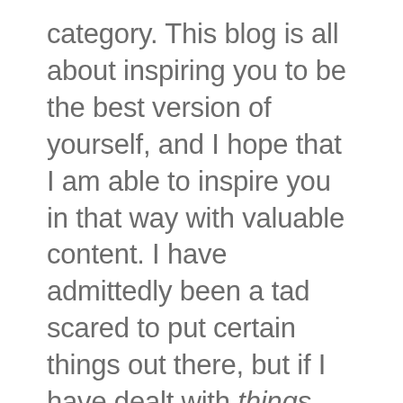category. This blog is all about inspiring you to be the best version of yourself, and I hope that I am able to inspire you in that way with valuable content. I have admittedly been a tad scared to put certain things out there, but if I have dealt with things, I'm sure you have, too! I have always been real here but